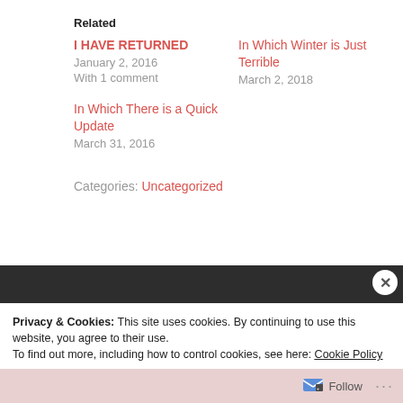Related
I HAVE RETURNED
January 2, 2016
With 1 comment
In Which Winter is Just Terrible
March 2, 2018
In Which There is a Quick Update
March 31, 2016
Categories: Uncategorized
Privacy & Cookies: This site uses cookies. By continuing to use this website, you agree to their use.
To find out more, including how to control cookies, see here: Cookie Policy
Close and accept
Follow